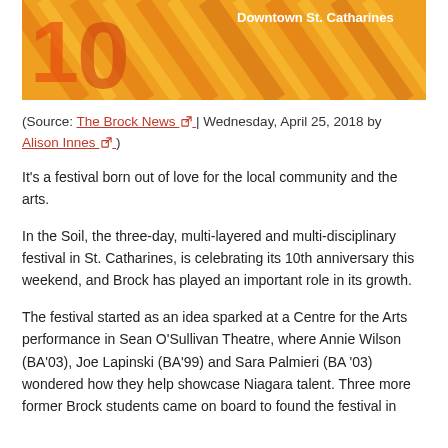[Figure (photo): Colorful orange and yellow festival promotional graphic with diagonal line patterns and text reading 'Downtown St. Catharines']
(Source: The Brock News | Wednesday, April 25, 2018 by Alison Innes)
It's a festival born out of love for the local community and the arts.
In the Soil, the three-day, multi-layered and multi-disciplinary festival in St. Catharines, is celebrating its 10th anniversary this weekend, and Brock has played an important role in its growth.
The festival started as an idea sparked at a Centre for the Arts performance in Sean O'Sullivan Theatre, where Annie Wilson (BA'03), Joe Lapinski (BA'99) and Sara Palmieri (BA '03) wondered how they help showcase Niagara talent. Three more former Brock students came on board to found the festival in